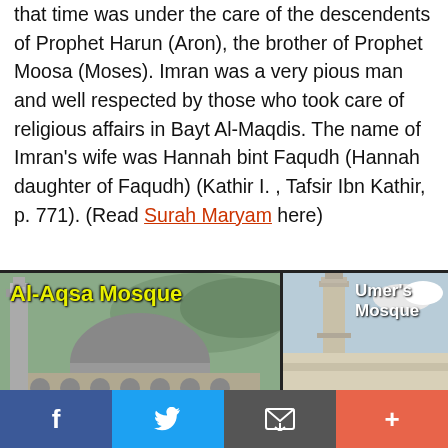that time was under the care of the descendents of Prophet Harun (Aron), the brother of Prophet Moosa (Moses). Imran was a very pious man and well respected by those who took care of religious affairs in Bayt Al-Maqdis. The name of Imran's wife was Hannah bint Faqudh (Hannah daughter of Faqudh) (Kathir I. , Tafsir Ibn Kathir, p. 771). (Read Surah Maryam here)
[Figure (photo): Composite image showing Al-Aqsa Mosque (top left), Umer's Mosque (top right), Church of the (bottom left), and Dome of the Rock (bottom right)]
f  [Twitter bird icon]  [Email icon]  +